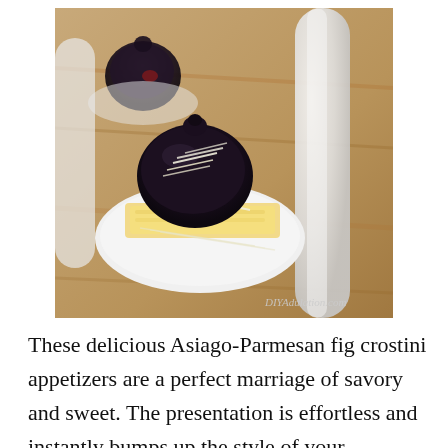[Figure (photo): Close-up photo of Asiago-Parmesan fig crostini appetizers served on white plastic spoons. The appetizers feature dark figs on top of cheese slices with shredded cheese, placed on a wooden surface. Watermark reads DIYAdulation.com.]
These delicious Asiago-Parmesan fig crostini appetizers are a perfect marriage of savory and sweet. The presentation is effortless and instantly bumps up the style of your appetizer table. This year you can